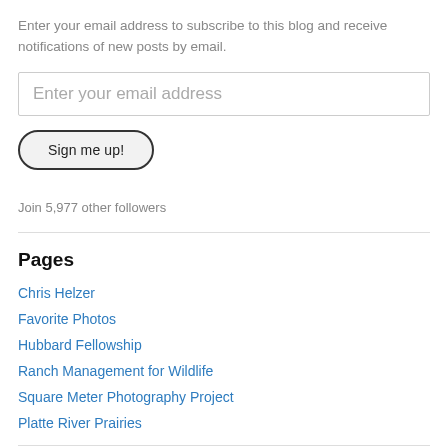Enter your email address to subscribe to this blog and receive notifications of new posts by email.
Enter your email address
Sign me up!
Join 5,977 other followers
Pages
Chris Helzer
Favorite Photos
Hubbard Fellowship
Ranch Management for Wildlife
Square Meter Photography Project
Platte River Prairies